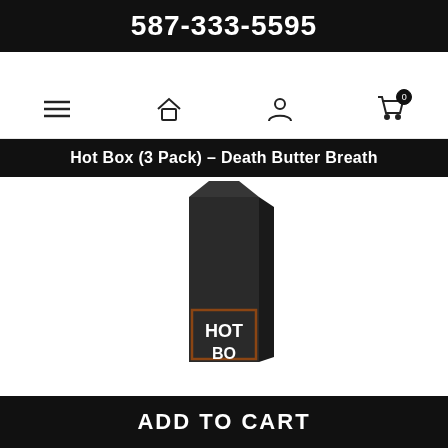587-333-5595
[Figure (screenshot): Navigation bar with hamburger menu, home icon, user icon, and cart icon with badge showing 0]
Hot Box (3 Pack) – Death Butter Breath
[Figure (photo): A tall dark/black rectangular product box with 'HOT' text visible near the bottom, partially cut off showing 'BOX' below]
ADD TO CART